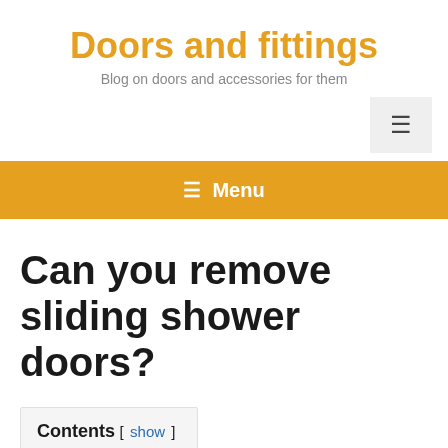Doors and fittings
Blog on doors and accessories for them
≡ Menu
Can you remove sliding shower doors?
Contents [ show ]